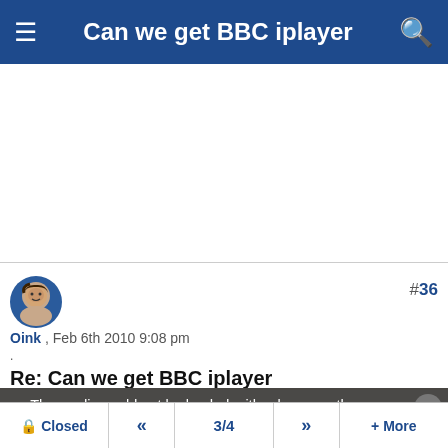Can we get BBC iplayer
[Figure (screenshot): Blank white advertisement area]
Oink , Feb 6th 2010 9:08 pm
#36
.
Re: Can we get BBC iplayer
Quote:
[Figure (screenshot): Video media error overlay: 'The media could not be loaded, either because the server or network failed or because the format is not supported.' overlaid on Signs Of Liver Disease advertisement image with text 'Six Signs That You Have Liver Disease', '[Signs & Symptoms Of Liver Disease']
Closed  <<  3/4  >>  + More